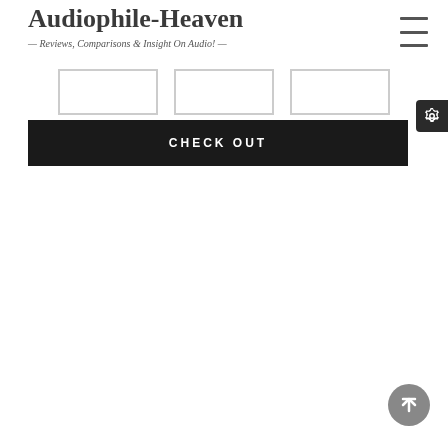Audiophile-Heaven
— Reviews, Comparisons & Insight On Audio! —
[Figure (other): Three empty image placeholder boxes with light grey borders arranged horizontally]
[Figure (other): Dark settings/gear icon button in top-right corner]
CHECK OUT
[Figure (other): Back-to-top circular button (grey circle with upward arrow) in bottom right corner]